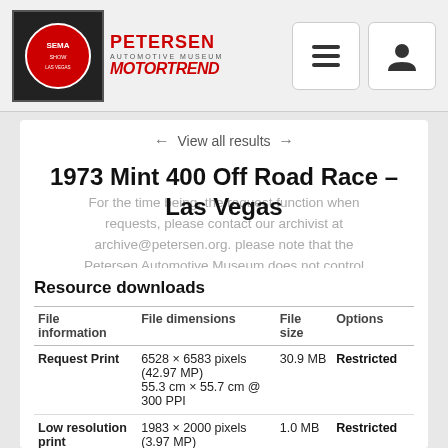Petersen Automotive Museum / MotorTrend
← View all results →
1973 Mint 400 Off Road Race – Las Vegas
For the time being, the request function when requests, please contact our archivist at archive@petersen.org. Please note that the Petersen Automotive Museum does not control the commercial licensing of archival images. All commercial requests will be forwarded to the appropriate party at the Petersen Automotive Museum does not control the approval of these commercial requests. To submit archive@petersen.org. In partnership with SEMA.
Resource downloads
| File information | File dimensions | File size | Options |
| --- | --- | --- | --- |
| Request Print | 6528 × 6583 pixels (42.97 MP)
55.3 cm × 55.7 cm @ 300 PPI | 30.9 MB | Restricted |
| Low resolution print | 1983 × 2000 pixels (3.97 MP)
16.8 cm × 16.9 cm @ | 1.0 MB | Restricted |